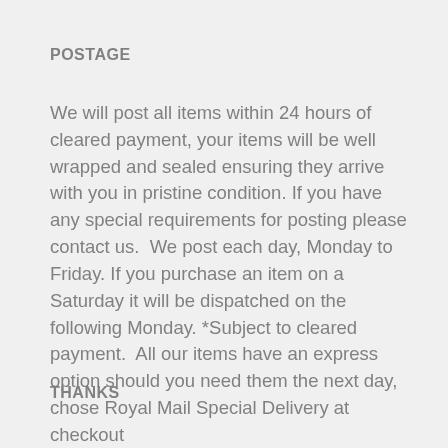POSTAGE
We will post all items within 24 hours of cleared payment, your items will be well wrapped and sealed ensuring they arrive with you in pristine condition. If you have any special requirements for posting please contact us.  We post each day, Monday to Friday. If you purchase an item on a Saturday it will be dispatched on the following Monday. *Subject to cleared payment.  All our items have an express option should you need them the next day, chose Royal Mail Special Delivery at checkout
THANKS